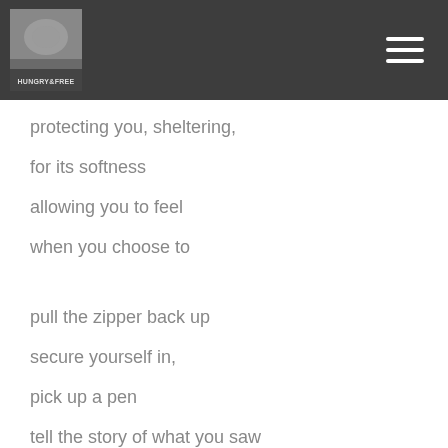Hungry & Free
protecting you, sheltering,
for its softness
allowing you to feel
when you choose to
pull the zipper back up
secure yourself in,
pick up a pen
tell the story of what you saw